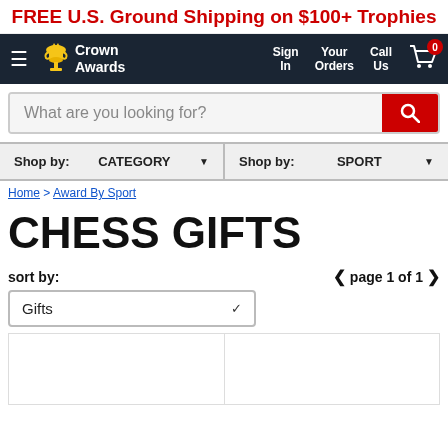FREE U.S. Ground Shipping on $100+ Trophies
[Figure (screenshot): Crown Awards navigation bar with hamburger menu, logo, Sign In, Your Orders, Call Us, and cart with 0 badge]
What are you looking for?
Shop by: CATEGORY | Shop by: SPORT
Home > Award By Sport
CHESS GIFTS
sort by:
page 1 of 1
Gifts